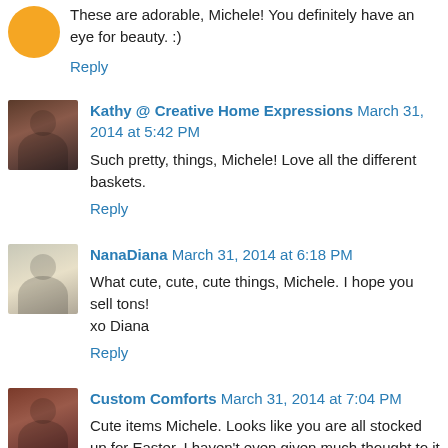These are adorable, Michele! You definitely have an eye for beauty. :)
Reply
Kathy @ Creative Home Expressions  March 31, 2014 at 5:42 PM
Such pretty, things, Michele! Love all the different baskets.
Reply
NanaDiana  March 31, 2014 at 6:18 PM
What cute, cute, cute things, Michele. I hope you sell tons!
xo Diana
Reply
Custom Comforts  March 31, 2014 at 7:04 PM
Cute items Michele. Looks like you are all stocked up for Easter. I haven't even given much thought to it yet, but I'm